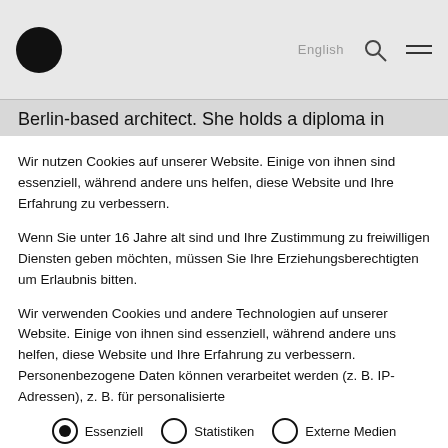English [navigation bar with logo, search, menu]
Berlin-based architect. She holds a diploma in
Wir nutzen Cookies auf unserer Website. Einige von ihnen sind essenziell, während andere uns helfen, diese Website und Ihre Erfahrung zu verbessern.
Wenn Sie unter 16 Jahre alt sind und Ihre Zustimmung zu freiwilligen Diensten geben möchten, müssen Sie Ihre Erziehungsberechtigten um Erlaubnis bitten.
Wir verwenden Cookies und andere Technologien auf unserer Website. Einige von ihnen sind essenziell, während andere uns helfen, diese Website und Ihre Erfahrung zu verbessern. Personenbezogene Daten können verarbeitet werden (z. B. IP-Adressen), z. B. für personalisierte
Essenziell  Statistiken  Externe Medien
ALLE AKZEPTIEREN  SPEICHERN
Individuelle Datenschutzeinstellungen